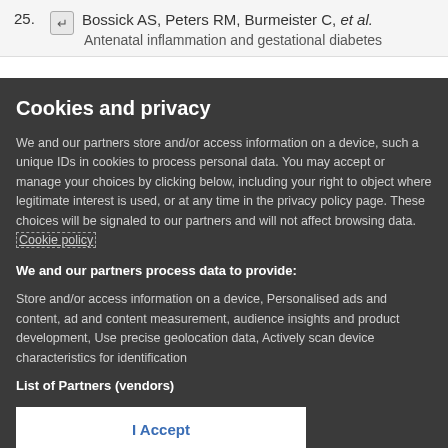25. Bossick AS, Peters RM, Burmeister C, et al. Antenatal inflammation and gestational diabetes
Cookies and privacy
We and our partners store and/or access information on a device, such a unique IDs in cookies to process personal data. You may accept or manage your choices by clicking below, including your right to object where legitimate interest is used, or at any time in the privacy policy page. These choices will be signaled to our partners and will not affect browsing data. Cookie policy
We and our partners process data to provide:
Store and/or access information on a device, Personalised ads and content, ad and content measurement, audience insights and product development, Use precise geolocation data, Actively scan device characteristics for identification
List of Partners (vendors)
I Accept